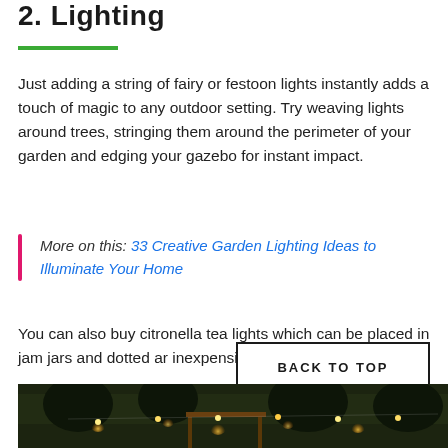2. Lighting
Just adding a string of fairy or festoon lights instantly adds a touch of magic to any outdoor setting. Try weaving lights around trees, stringing them around the perimeter of your garden and edging your gazebo for instant impact.
More on this: 33 Creative Garden Lighting Ideas to Illuminate Your Home
You can also buy citronella tea lights which can be placed in jam jars and dotted ar... inexpensive and impressive display.
[Figure (photo): Outdoor garden scene at dusk/night showing illuminated festoon lights strung around trees and a gazebo structure]